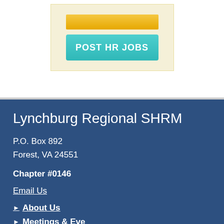[Figure (screenshot): Yellow/gold top button strip and teal 'POST HR JOBS' button on a cream/beige background panel]
Lynchburg Regional SHRM
P.O. Box 892
Forest, VA 24551
Chapter #0146
Email Us
About Us
Meetings & Events